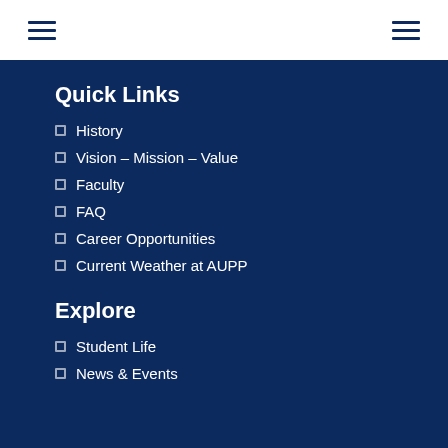Quick Links
History
Vision – Mission – Value
Faculty
FAQ
Career Opportunities
Current Weather at AUPP
Explore
Student Life
News & Events